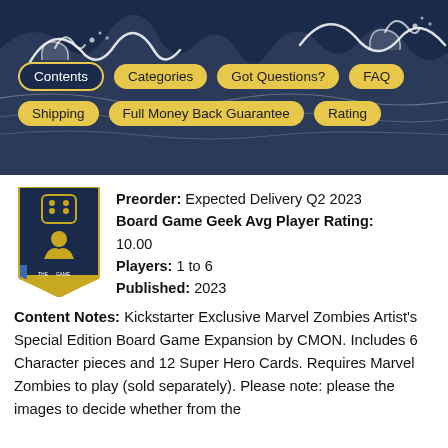[Figure (illustration): Navigation banner with ocean wave illustration on dark navy background, containing navigation buttons: Contents (active/dark), Categories, Got Questions?, FAQ, Shipping, Full Money Back Guarantee, Rating]
Preorder: Expected Delivery Q2 2023
Board Game Geek Avg Player Rating:
10.00
Players: 1 to 6
Published: 2023
Content Notes: Kickstarter Exclusive Marvel Zombies Artist's Special Edition Board Game Expansion by CMON. Includes 6 Character pieces and 12 Super Hero Cards. Requires Marvel Zombies to play (sold separately). Please note: please the images to decide whether from the